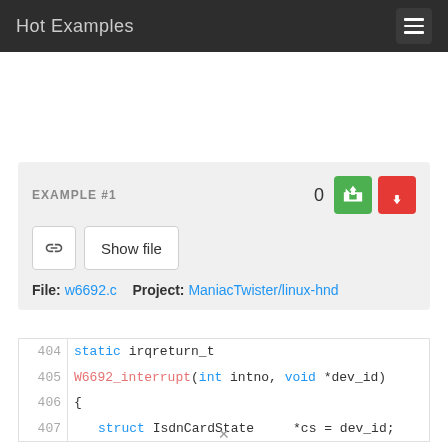Hot Examples
EXAMPLE #1
File: w6692.c   Project: ManiacTwister/linux-hnd
404   static irqreturn_t
405   W6692_interrupt(int intno, void *dev_id)
406   {
407       struct IsdnCardState    *cs = dev_id;